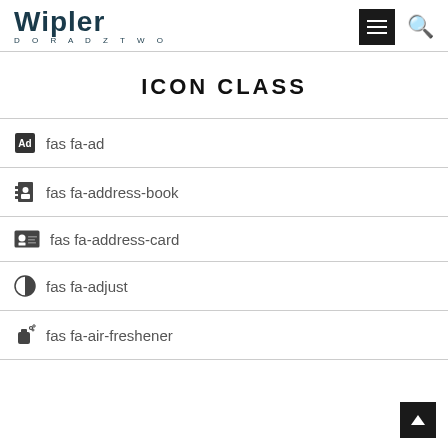Wipler DORADZTWO
ICON CLASS
fas fa-ad
fas fa-address-book
fas fa-address-card
fas fa-adjust
fas fa-air-freshener